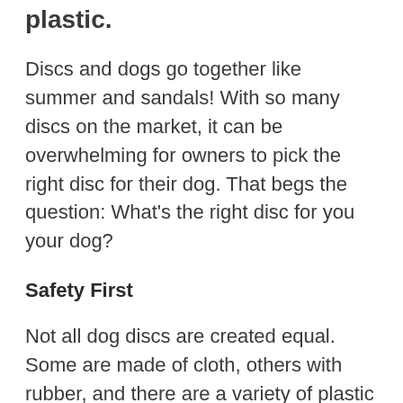plastic.
Discs and dogs go together like summer and sandals! With so many discs on the market, it can be overwhelming for owners to pick the right disc for their dog. That begs the question: What’s the right disc for you your dog?
Safety First
Not all dog discs are created equal. Some are made of cloth, others with rubber, and there are a variety of plastic discs. Cloth and rubber discs can be fun to play with and are easily available. The downside of these discs is that